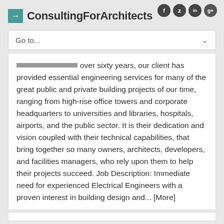ConsultingForArchitects
Go to...
over sixty years, our client has provided essential engineering services for many of the great public and private building projects of our time, ranging from high-rise office towers and corporate headquarters to universities and libraries, hospitals, airports, and the public sector. It is their dedication and vision coupled with their technical capabilities, that bring together so many owners, architects, developers, and facilities managers, who rely upon them to help their projects succeed. Job Description: Immediate need for experienced Electrical Engineers with a proven interest in building design and... [More]